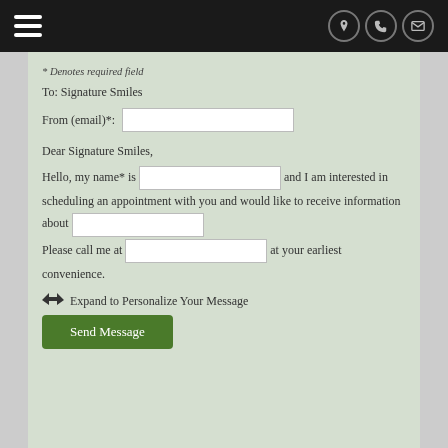Navigation header with hamburger menu and contact icons
* Denotes required field
To: Signature Smiles
From (email)*: [input field]
Dear Signature Smiles,
Hello, my name* is [input] and I am interested in scheduling an appointment with you and would like to receive information about [input]
Please call me at [input] at your earliest convenience.
Expand to Personalize Your Message
Send Message